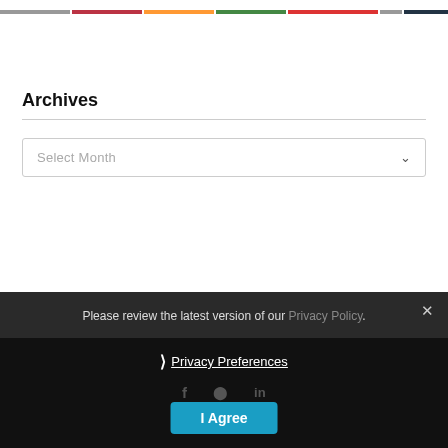[Figure (other): Top navigation strip with colored icons/logos]
Archives
[Figure (other): Select Month dropdown widget]
Please review the latest version of our Privacy Policy.
❯ Privacy Preferences
[Figure (other): Social media icons: f, circle icon, in]
I Agree